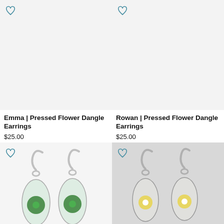[Figure (photo): Empty light gray product image placeholder for Emma earrings with heart icon]
Emma | Pressed Flower Dangle Earrings
$25.00
[Figure (photo): Empty light gray product image placeholder for Rowan earrings with heart icon]
Rowan | Pressed Flower Dangle Earrings
$25.00
[Figure (photo): Photo of pressed flower dangle earrings with green flower in clear resin teardrop, silver hooks, with heart icon overlay]
[Figure (photo): Photo of pressed flower dangle earrings with yellow/white flower in clear resin teardrop, silver hooks, heart icon and Messenger chat bubble overlay]